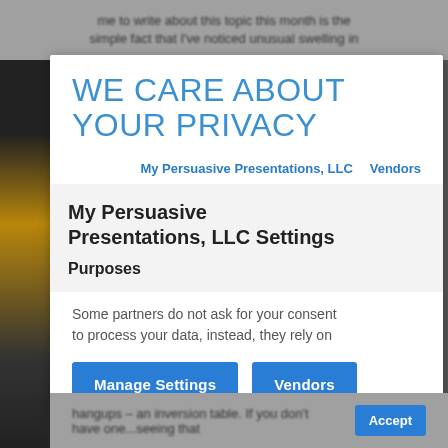me to write about this topic this month is the simple fact that I've noticed unusual swelling in
WE CARE ABOUT YOUR PRIVACY
My Persuasive Presentations, LLC   Vendors
My Persuasive Presentations, LLC Settings
Purposes
Some partners do not ask for your consent to process your data, instead, they rely on
Manage Settings
Vendors
hangups – an inversion table. If you don't have one...seeing that